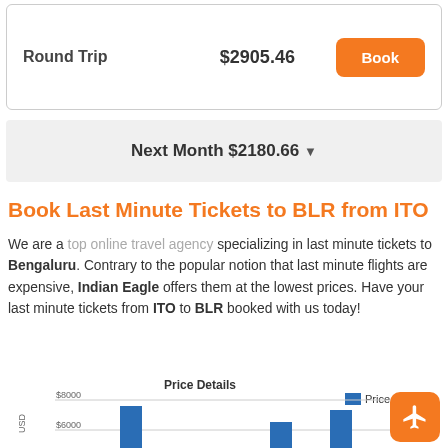Round Trip   $2905.46   Book
Next Month $2180.66 ▼
Book Last Minute Tickets to BLR from ITO
We are a top online travel agency specializing in last minute tickets to Bengaluru. Contrary to the popular notion that last minute flights are expensive, Indian Eagle offers them at the lowest prices. Have your last minute tickets from ITO to BLR booked with us today!
[Figure (bar-chart): Price Details]